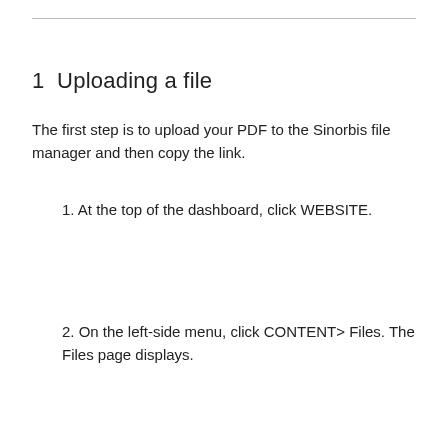1  Uploading a file
The first step is to upload your PDF to the Sinorbis file manager and then copy the link.
1. At the top of the dashboard, click WEBSITE.
2. On the left-side menu, click CONTENT> Files. The Files page displays.